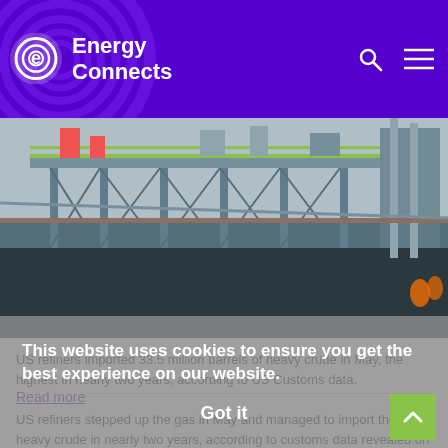Energy Connects
[Figure (photo): Industrial offshore or marine platform/jetty with metal structures, walkways, and equipment over water, photographed from ground level.]
US refiners imported 33.5 million barrels of heavy crude in May, the highest in nearly two years, according to US Customs data.
Read more
US refiners stepped up the gas in May and managed to import the most heavy crude in nearly two years, according to customs data revealed on Friday.
This website uses cookies to ensure you get the best experience on our website.
Got it